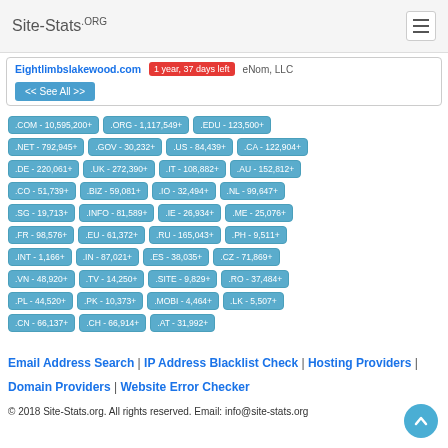Site-Stats.ORG
Eightlimbslakewood.com   1 year, 37 days left   eNom, LLC
<< See All >>
.COM - 10,595,200+
.ORG - 1,117,549+
.EDU - 123,500+
.NET - 792,945+
.GOV - 30,232+
.US - 84,439+
.CA - 122,904+
.DE - 220,061+
.UK - 272,390+
.IT - 108,882+
.AU - 152,812+
.CO - 51,739+
.BIZ - 59,081+
.IO - 32,494+
.NL - 99,647+
.SG - 19,713+
.INFO - 81,589+
.IE - 26,934+
.ME - 25,076+
.FR - 98,576+
.EU - 61,372+
.RU - 165,043+
.PH - 9,511+
.INT - 1,166+
.IN - 87,021+
.ES - 38,035+
.CZ - 71,869+
.VN - 48,920+
.TV - 14,250+
.SITE - 9,829+
.RO - 37,484+
.PL - 44,520+
.PK - 10,373+
.MOBI - 4,464+
.LK - 5,507+
.CN - 66,137+
.CH - 66,914+
.AT - 31,992+
Email Address Search | IP Address Blacklist Check | Hosting Providers | Domain Providers | Website Error Checker
© 2018 Site-Stats.org. All rights reserved. Email: info@site-stats.org